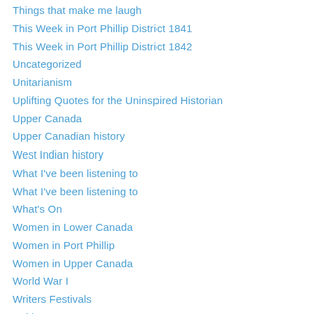Things that make me laugh
This Week in Port Phillip District 1841
This Week in Port Phillip District 1842
Uncategorized
Unitarianism
Uplifting Quotes for the Uninspired Historian
Upper Canada
Upper Canadian history
West Indian history
What I've been listening to
What I've been listening to
What's On
Women in Lower Canada
Women in Port Phillip
Women in Upper Canada
World War I
Writers Festivals
Writing
Zooming History